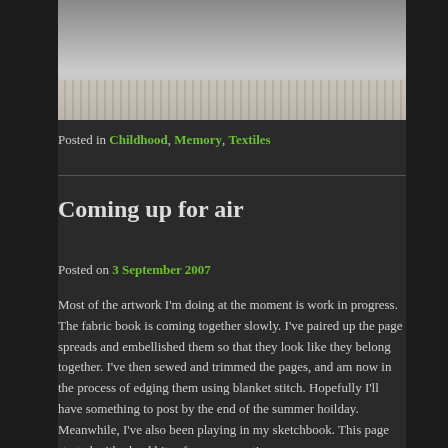[Figure (photo): Close-up photo of a textile/fabric book with blanket stitch edging, showing cream-colored fabric with stitched edges]
Posted in Childhood, Memory, Textiles
Coming up for air
Posted on 3 September 2007
Most of the artwork I'm doing at the moment is work in progress.  The fabric book is coming together slowly.  I've paired up the page spreads and embellished them so that they look like they belong together.  I've then sewed and trimmed the pages, and am now in the process of edging them using blanket stitch.  Hopefully I'll have something to post by the end of the summer hoilday.
Meanwhile, I've also been playing in my sketchbook.  This page started with glued bits of newspaper, tissue paper